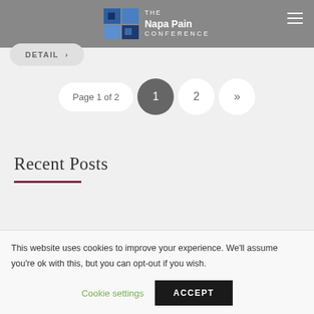The Napa Pain Conference
DETAIL ›
Page 1 of 2  1  2  »
Recent Posts
This website uses cookies to improve your experience. We'll assume you're ok with this, but you can opt-out if you wish.
Cookie settings  ACCEPT